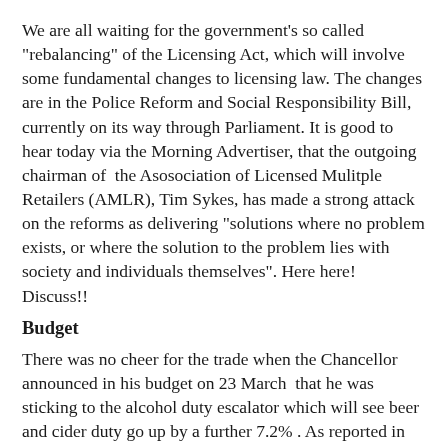We are all waiting for the government's so called "rebalancing" of the Licensing Act, which will involve some fundamental changes to licensing law. The changes are in the Police Reform and Social Responsibility Bill, currently on its way through Parliament. It is good to hear today via the Morning Advertiser, that the outgoing chairman of the Asosociation of Licensed Mulitple Retailers (AMLR), Tim Sykes, has made a strong attack on the reforms as delivering "solutions where no problem exists, or where the solution to the problem lies with society and individuals themselves". Here here! Discuss!!
Budget
There was no cheer for the trade when the Chancellor announced in his budget on 23 March that he was sticking to the alcohol duty escalator which will see beer and cider duty go up by a further 7.2% . As reported in the Morning Advertiser, the Managing Director of Heieken UK reacted by noting this will amount to a 35% increaase over the past 3 years, "bad